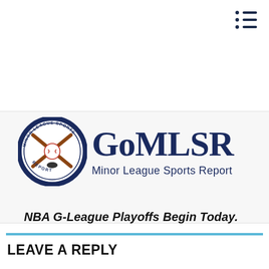[Figure (logo): GoMLSR - Minor League Sports Report logo with circular badge and text]
NBA G-League Playoffs Begin Today.
LEAVE A REPLY